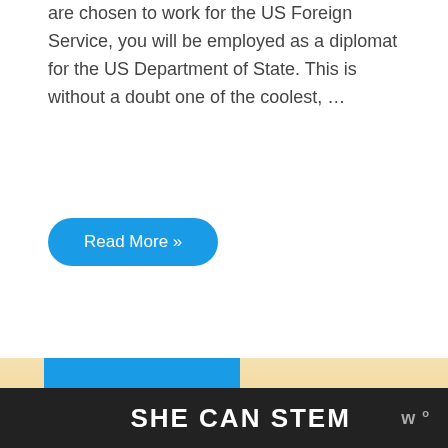are chosen to work for the US Foreign Service, you will be employed as a diplomat for the US Department of State. This is without a doubt one of the coolest, …
Read More »
[Figure (photo): Graduation caps silhouetted against a warm orange/yellow sunset background, two graduates visible]
SHE CAN STEM